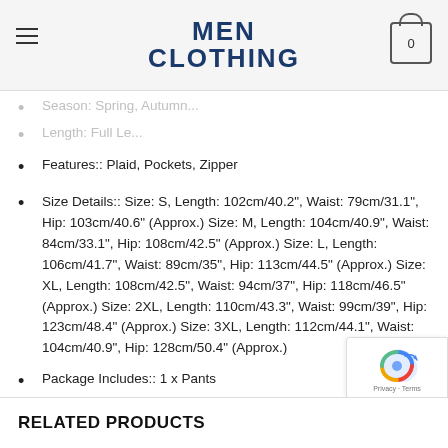MEN CLOTHING
Season: Spring, Autumn...
Length: Full Le...
Features:: Plaid, Pockets, Zipper
Size Details:: Size: S, Length: 102cm/40.2", Waist: 79cm/31.1", Hip: 103cm/40.6" (Approx.) Size: M, Length: 104cm/40.9", Waist: 84cm/33.1", Hip: 108cm/42.5" (Approx.) Size: L, Length: 106cm/41.7", Waist: 89cm/35", Hip: 113cm/44.5" (Approx.) Size: XL, Length: 108cm/42.5", Waist: 94cm/37", Hip: 118cm/46.5" (Approx.) Size: 2XL, Length: 110cm/43.3", Waist: 99cm/39", Hip: 123cm/48.4" (Approx.) Size: 3XL, Length: 112cm/44.1", Waist: 104cm/40.9", Hip: 128cm/50.4" (Approx.)
Package Includes:: 1 x Pants
RELATED PRODUCTS